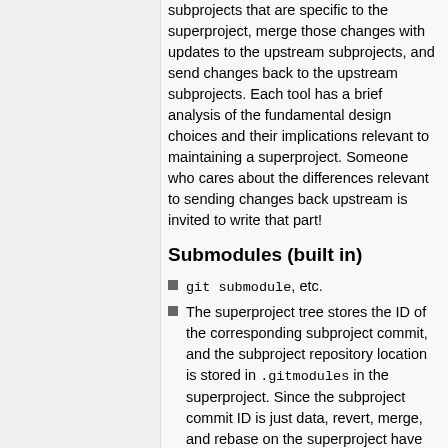subprojects that are specific to the superproject, merge those changes with updates to the upstream subprojects, and send changes back to the upstream subprojects. Each tool has a brief analysis of the fundamental design choices and their implications relevant to maintaining a superproject. Someone who cares about the differences relevant to sending changes back upstream is invited to write that part!
Submodules (built in)
git submodule, etc.
The superproject tree stores the ID of the corresponding subproject commit, and the subproject repository location is stored in .gitmodules in the superproject. Since the subproject commit ID is just data, revert, merge, and rebase on the superproject have the effects one would expect on the choice of subproject commit ID.
The Git commands automate much of the